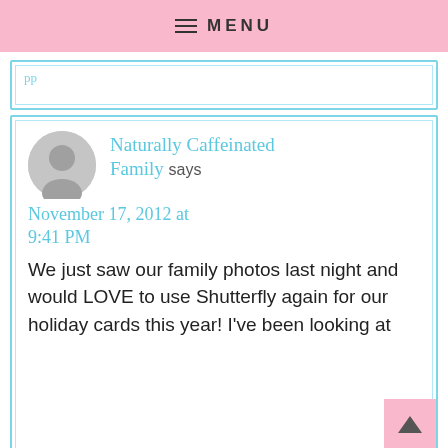MENU
pp
Naturally Caffeinated Family says
November 17, 2012 at 9:41 PM
We just saw our family photos last night and would LOVE to use Shutterfly again for our holiday cards this year! I've been looking at